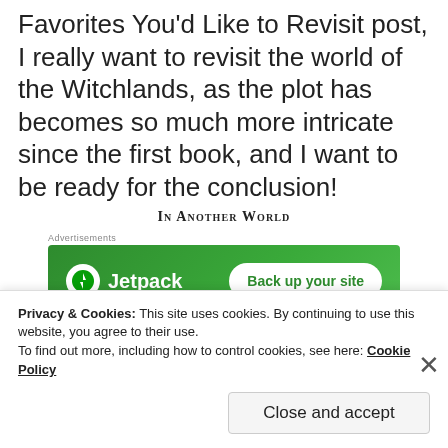Favorites You'd Like to Revisit post, I really want to revisit the world of the Witchlands, as the plot has becomes so much more intricate since the first book, and I want to be ready for the conclusion!
In Another World
[Figure (screenshot): Jetpack advertisement banner with green background, Jetpack logo on left and 'Back up your site' button on right]
Privacy & Cookies: This site uses cookies. By continuing to use this website, you agree to their use.
To find out more, including how to control cookies, see here: Cookie Policy
Close and accept